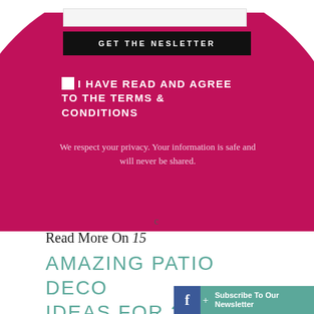GET THE NESLETTER
I HAVE READ AND AGREE TO THE TERMS & CONDITIONS
We respect your privacy. Your information is safe and will never be shared.
Read More On 15
AMAZING PATIO DECO IDEAS FOR 2021
Subscribe To Our Newsletter